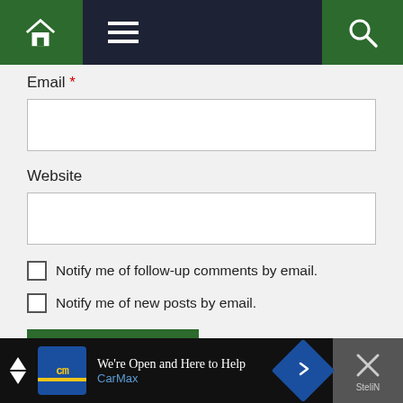[Figure (screenshot): Website navigation bar with home icon (green), hamburger menu (dark navy), and search icon (green)]
Email *
Website
Notify me of follow-up comments by email.
Notify me of new posts by email.
Post Comment
[Figure (screenshot): CarMax advertisement banner: 'We're Open and Here to Help CarMax' with logo and navigation arrow icon]